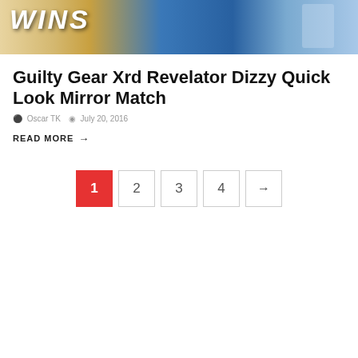[Figure (photo): Partial view of a gaming/sports scene with 'WINS' text visible in large white bold letters on left, characters/players visible on right side with blue background]
Guilty Gear Xrd Revelator Dizzy Quick Look Mirror Match
Oscar TK   July 20, 2016
READ MORE →
1  2  3  4  →